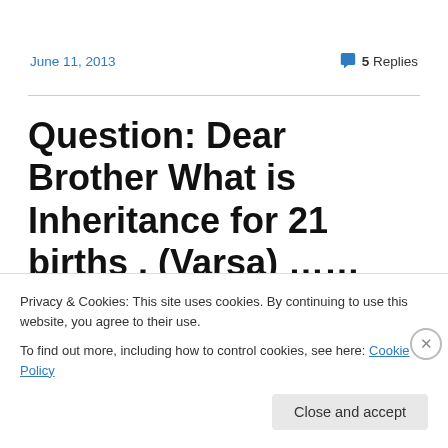June 11, 2013   💬 5 Replies
Question: Dear Brother What is Inheritance for 21 births . (Varsa) ……what exactly does Baba give and how it last for 21 births pls share thnks
Privacy & Cookies: This site uses cookies. By continuing to use this website, you agree to their use.
To find out more, including how to control cookies, see here: Cookie Policy